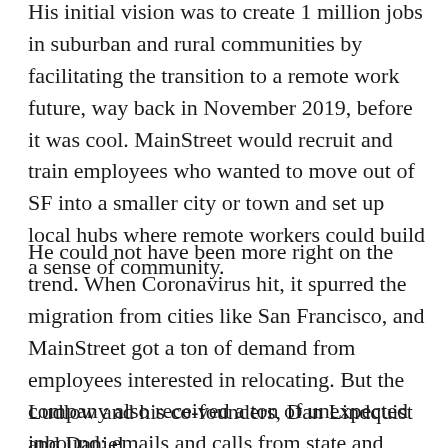His initial vision was to create 1 million jobs in suburban and rural communities by facilitating the transition to a remote work future, way back in November 2019, before it was cool. MainStreet would recruit and train employees who wanted to move out of SF into a smaller city or town and set up local hubs where remote workers could build a sense of community.
He could not have been more right on the trend. When Coronavirus hit, it spurred the migration from cities like San Francisco, and MainStreet got a ton of demand from employees interested in relocating. But the company also received a ton of unexpected inbound: emails and calls from state and local governments trumpeting their incentive programs.
Ludlow and his co-founders, Dan Lindquist and Daniel